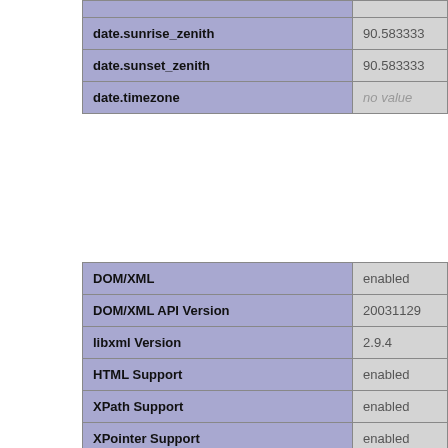| Setting | Value |
| --- | --- |
| date.sunrise_zenith | 90.583333 |
| date.sunset_zenith | 90.583333 |
| date.timezone | no value |
| Feature | Status |
| --- | --- |
| DOM/XML | enabled |
| DOM/XML API Version | 20031129 |
| libxml Version | 2.9.4 |
| HTML Support | enabled |
| XPath Support | enabled |
| XPointer Support | enabled |
| Schema Support | enabled |
| RelaxNG Support | enabled |